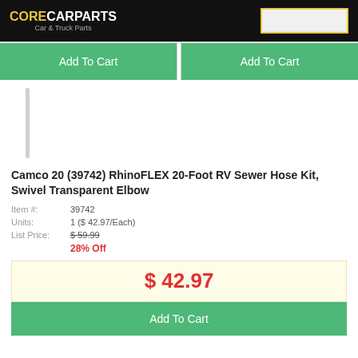CORECARPARTS Car & Truck Parts
[Figure (screenshot): Two Add To Cart green buttons side by side]
[Figure (photo): Product image placeholder - thin vertical gray bar]
Camco 20 (39742) RhinoFLEX 20-Foot RV Sewer Hose Kit, Swivel Transparent Elbow
Item #: 39742
Units: 1 ($ 42.97/Each)
List Price: $ 59.99
28% Off
$ 42.97
Add To Cart